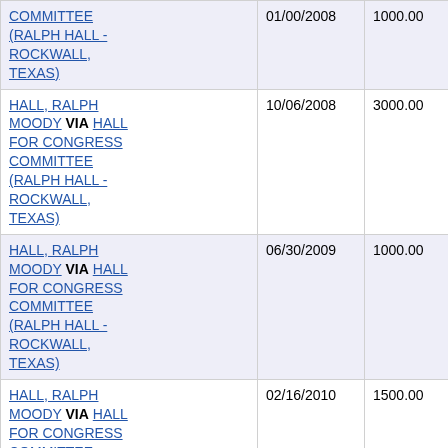| Name | Date | Amount | ID |
| --- | --- | --- | --- |
| COMMITTEE (RALPH HALL - ROCKWALL, TEXAS) | 01/00/2008 | 1000.00 | 289338... |
| HALL, RALPH MOODY VIA HALL FOR CONGRESS COMMITTEE (RALPH HALL - ROCKWALL, TEXAS) | 10/06/2008 | 3000.00 | 289339... |
| HALL, RALPH MOODY VIA HALL FOR CONGRESS COMMITTEE (RALPH HALL - ROCKWALL, TEXAS) | 06/30/2009 | 1000.00 | 299924... |
| HALL, RALPH MOODY VIA HALL FOR CONGRESS COMMITTEE (RALPH HALL - ROCKWALL, TEXAS) | 02/16/2010 | 1500.00 | 109304... |
| HALL, RALPH MOODY VIA HALL FOR CONGRESS COMMITTEE (RALPH HALL - ROCKWALL, TEXAS) | 05/01/2012 | 5000.00 | 129519... |